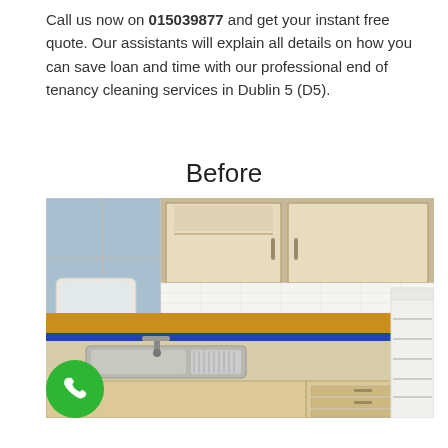Call us now on 015039877 and get your instant free quote. Our assistants will explain all details on how you can save loan and time with our professional end of tenancy cleaning services in Dublin 5 (D5).
Before
[Figure (photo): A kitchen interior before cleaning showing a sink with a draining board, yellow and blue tiled countertop, cream-colored base cabinets with drawers, upper cabinets, a window with light coming through, and an open refrigerator on the right side.]